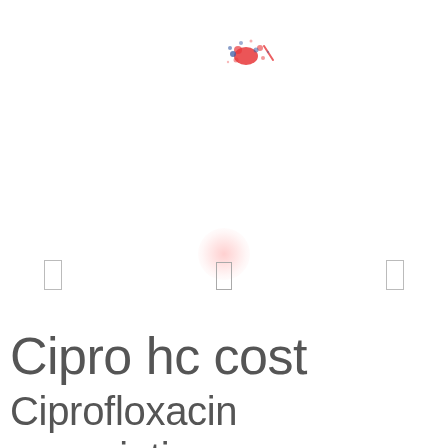[Figure (logo): Small colorful logo with red and blue paint splatter design, centered near top of page]
[Figure (other): Three small empty checkbox rectangles arranged horizontally across the page, with a soft pink/red glow circle above the middle checkbox]
Cipro hc cost
Ciprofloxacin prescription